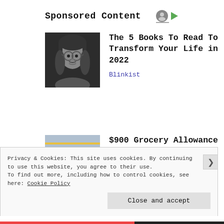Sponsored Content
[Figure (photo): Black and white portrait photo of a young man with long hair and round glasses]
The 5 Books To Read To Transform Your Life in 2022
Blinkist
[Figure (photo): Color photo of a grocery store interior with shoppers]
$900 Grocery Allowance For Seniors On…
bestmedicareplans.com
Privacy & Cookies: This site uses cookies. By continuing to use this website, you agree to their use. To find out more, including how to control cookies, see here: Cookie Policy
Close and accept